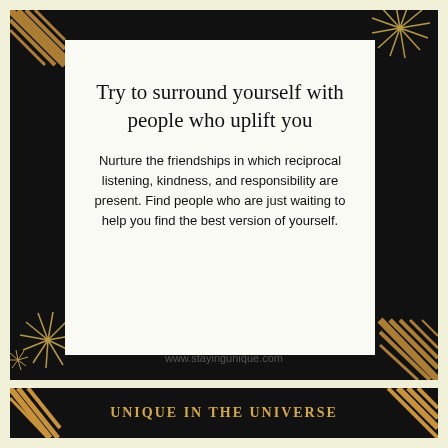[Figure (illustration): Motivational quote card with black background, gold decorative starburst/firework patterns in corners and edges, diagonal gold and black striped accents. A white inner card contains the quote text. Bottom banner says UNIQUE IN THE UNIVERSE in gold lettering.]
Try to surround yourself with people who uplift you
Nurture the friendships in which reciprocal listening, kindness, and responsibility are present. Find people who are just waiting to help you find the best version of yourself.
www.stayingunique.com
UNIQUE IN THE UNIVERSE